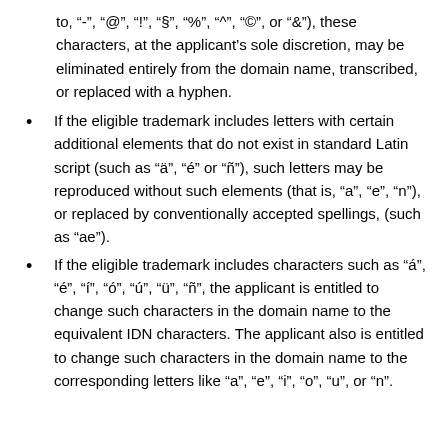to, "-", "@", "!", "§", "%", "^", "©", or "&"), these characters, at the applicant's sole discretion, may be eliminated entirely from the domain name, transcribed, or replaced with a hyphen.
If the eligible trademark includes letters with certain additional elements that do not exist in standard Latin script (such as "ä", "é" or "ñ"), such letters may be reproduced without such elements (that is, "a", "e", "n"), or replaced by conventionally accepted spellings, (such as "ae").
If the eligible trademark includes characters such as "á", "é", "í", "ó", "ú", "ü", "ñ", the applicant is entitled to change such characters in the domain name to the equivalent IDN characters. The applicant also is entitled to change such characters in the domain name to the corresponding letters like "a", "e", "i", "o", "u", or "n".